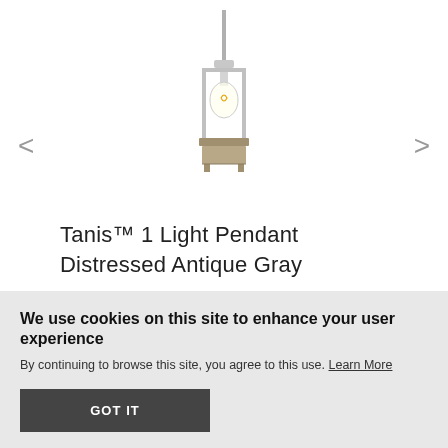[Figure (photo): Tanis pendant light fixture with metallic silver frame, exposed Edison bulb, and gray wood base, hanging from a rod]
Tanis™ 1 Light Pendant Distressed Antique Gray
$179.99* ☆☆☆☆☆ 0.0
We use cookies on this site to enhance your user experience
By continuing to browse this site, you agree to this use. Learn More
GOT IT